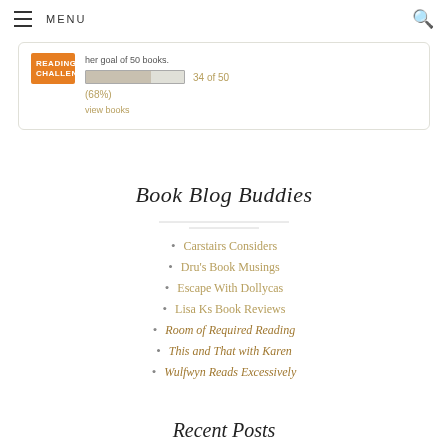MENU
[Figure (other): Goodreads Reading Challenge widget showing a progress bar at 34 of 50 books (68%) with a view books link and orange Reading Challenge badge]
Book Blog Buddies
Carstairs Considers
Dru's Book Musings
Escape With Dollycas
Lisa Ks Book Reviews
Room of Required Reading
This and That with Karen
Wulfwyn Reads Excessively
Recent Posts